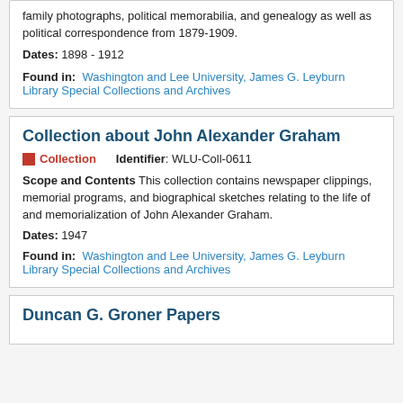family photographs, political memorabilia, and genealogy as well as political correspondence from 1879-1909.
Dates: 1898 - 1912
Found in: Washington and Lee University, James G. Leyburn Library Special Collections and Archives
Collection about John Alexander Graham
Collection   Identifier: WLU-Coll-0611
Scope and Contents This collection contains newspaper clippings, memorial programs, and biographical sketches relating to the life of and memorialization of John Alexander Graham.
Dates: 1947
Found in: Washington and Lee University, James G. Leyburn Library Special Collections and Archives
Duncan G. Groner Papers